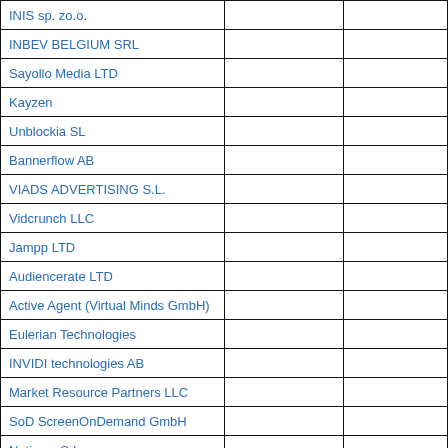| INIS sp. zo.o. |  |  |
| INBEV BELGIUM SRL |  |  |
| Sayollo Media LTD |  |  |
| Kayzen |  |  |
| Unblockia SL |  |  |
| Bannerflow AB |  |  |
| VIADS ADVERTISING S.L. |  |  |
| Vidcrunch LLC |  |  |
| Jampp LTD |  |  |
| Audiencerate LTD |  |  |
| Active Agent (Virtual Minds GmbH) |  |  |
| Eulerian Technologies |  |  |
| INVIDI technologies AB |  |  |
| Market Resource Partners LLC |  |  |
| SoD ScreenOnDemand GmbH |  |  |
| Nativery Srl |  |  |
| KUPONA GmbH |  |  |
| Wagawin GmbH |  |  |
| AdView |  |  |
| Vidoomy Media SL |  |  |
|  |  |  |